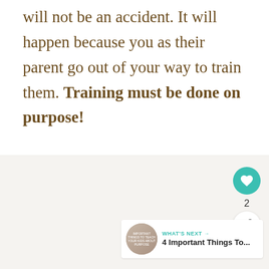will not be an accident. It will happen because you as their parent go out of your way to train them. Training must be done on purpose!
[Figure (screenshot): UI overlay with a teal heart/like button showing count of 2, a white share button, and a 'What's Next' recommendation card showing a thumbnail image and text '4 Important Things To...']